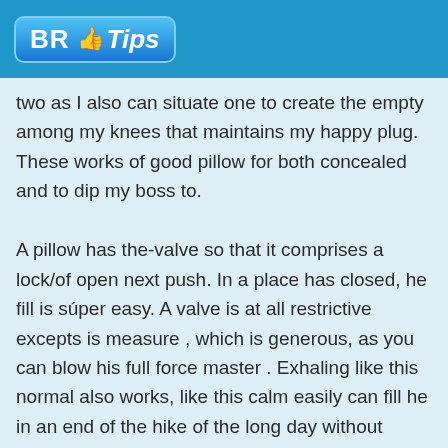BR Tips
two as I also can situate one to create the empty among my knees that maintains my happy plug. These works of good pillow for both concealed and to dip my boss to.

A pillow has the-valve so that it comprises a lock/of open next push. In a place has closed, he fill is súper easy. A valve is at all restrictive excepts is measure , which is generous, as you can blow his full force master . Exhaling like this normal also works, like this calm easily can fill he in an end of the hike of the long day without feeling has registered. I take 4-5 it exhales to fill a